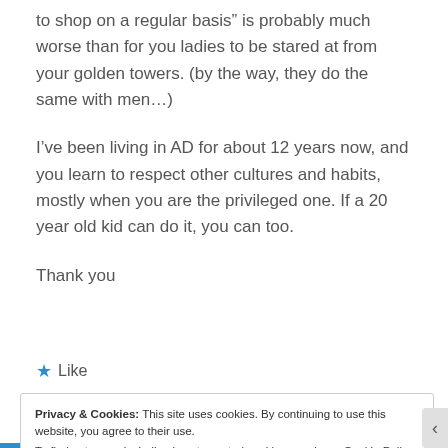to shop on a regular basis” is probably much worse than for you ladies to be stared at from your golden towers. (by the way, they do the same with men…)
I’ve been living in AD for about 12 years now, and you learn to respect other cultures and habits, mostly when you are the privileged one. If a 20 year old kid can do it, you can too.
Thank you
[Figure (other): Like button with star icon]
Privacy & Cookies: This site uses cookies. By continuing to use this website, you agree to their use. To find out more, including how to control cookies, see here: Cookie Policy
Close and accept